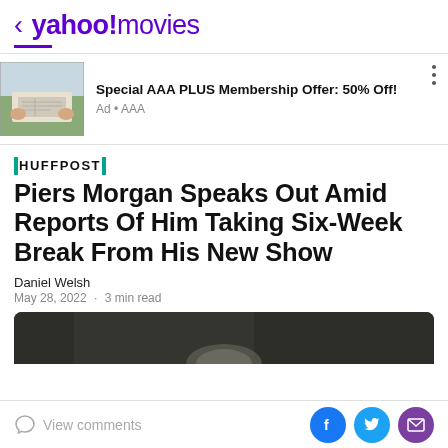< yahoo!movies
[Figure (screenshot): Ad banner showing AAA Plus Membership offer with a person reading a map image on the left, bold text 'Special AAA PLUS Membership Offer: 50% Off!' and 'Ad • AAA' below, with three vertical dots menu on the right.]
HUFFPOST
Piers Morgan Speaks Out Amid Reports Of Him Taking Six-Week Break From His New Show
Daniel Welsh
May 28, 2022 · 3 min read
[Figure (photo): Partially visible photo at the bottom of the article, showing a dark blurred background with what appears to be a person with white/gray hair.]
View comments